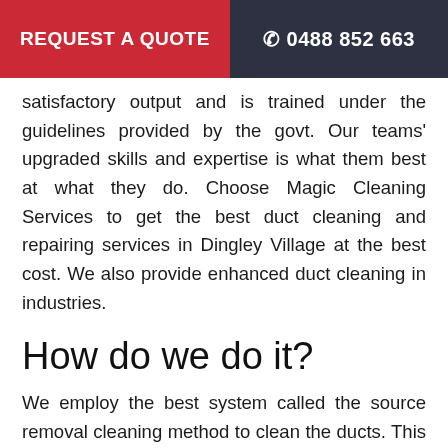REQUEST A QUOTE   0488 852 663
satisfactory output and is trained under the guidelines provided by the govt. Our teams' upgraded skills and expertise is what them best at what they do. Choose Magic Cleaning Services to get the best duct cleaning and repairing services in Dingley Village at the best cost. We also provide enhanced duct cleaning in industries.
How do we do it?
We employ the best system called the source removal cleaning method to clean the ducts. This is done by placing the system under high negative pressure through specialized and approved vacuum that passes air at a high speed and pushes the dust and grime